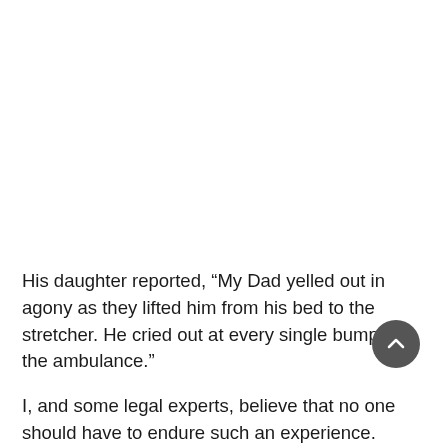His daughter reported, “My Dad yelled out in agony as they lifted him from his bed to the stretcher. He cried out at every single bump in the ambulance.”
I, and some legal experts, believe that no one should have to endure such an experience.